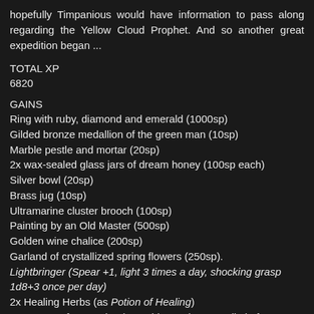hopefully Timpanious would have information to pass along regarding the Yellow Cloud Prophet. And so another great expedition began ...
TOTAL XP
6820
GAINS
Ring with ruby, diamond and emerald (1000sp)
Gilded bronze medallion of the green man (10sp)
Marble pestle and mortar (20sp)
2x wax-sealed glass jars of dream honey (100sp each)
Silver bowl (20sp)
Brass jug (10sp)
Ultramarine cluster brooch (100sp)
Painting by an Old Master (500sp)
Golden wine chalice (200sp)
Garland of crystallized spring flowers (250sp).
Lightbringer (Spear +1, light 3 times a day, shocking grasp 1d8+3 once per day)
2x Healing Herbs (as Potion of Healing)
2x Arrows of Burrowing (+1 to hit, continues to dig in for 3